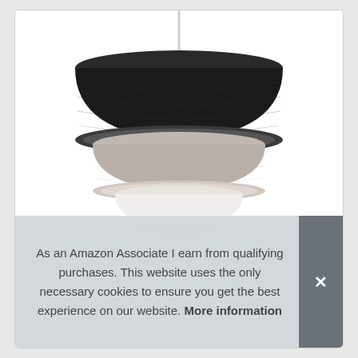[Figure (photo): A three-tiered pendant lamp shade hanging from a white cord. The top tier is a large black fabric drum shade, the middle tier is a medium grey fabric drum shade, and the bottom tier is a small white drum shade. The lamp is photographed against a white background.]
As an Amazon Associate I earn from qualifying purchases. This website uses the only necessary cookies to ensure you get the best experience on our website. More information